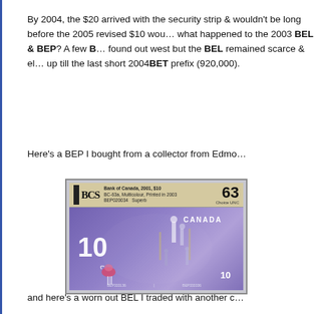By 2004, the $20 arrived with the security strip & wouldn't be long before the 2005 revised $10 wou... what happened to the 2003 BEL & BEP? A few B... found out west but the BEL remained scarce & el... up till the last short 2004BET prefix (920,000).
Here's a BEP I bought from a collector from Edmo...
[Figure (photo): A BCS-graded Bank of Canada 2001 $10 banknote in a graded holder, graded 63 Choice UNC. The note shows the purple Canadian $10 bill with the number 10 prominently displayed and CANADA text.]
and here's a worn out BEL I traded with another c...